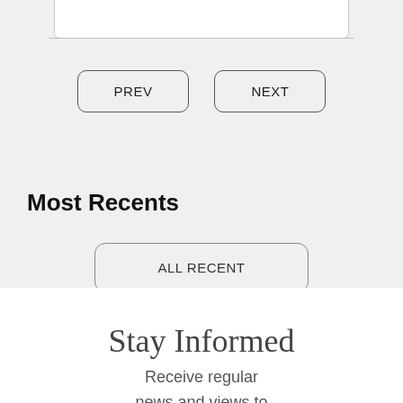[Figure (screenshot): Top white rounded box area at the top of the page]
PREV
NEXT
Most Recents
ALL RECENT
Stay Informed
Receive regular news and views to keep up-to-date